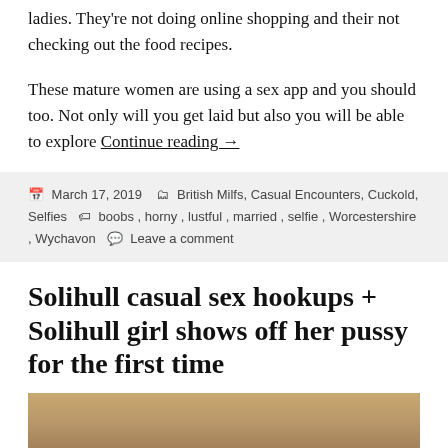ladies. They're not doing online shopping and their not checking out the food recipes.
These mature women are using a sex app and you should too. Not only will you get laid but also you will be able to explore Continue reading →
March 17, 2019   British Milfs, Casual Encounters, Cuckold, Selfies   boobs, horny, lustful, married, selfie, Worcestershire, Wychavon   Leave a comment
Solihull casual sex hookups + Solihull girl shows off her pussy for the first time
[Figure (photo): Partial photo of a person's face and upper body]